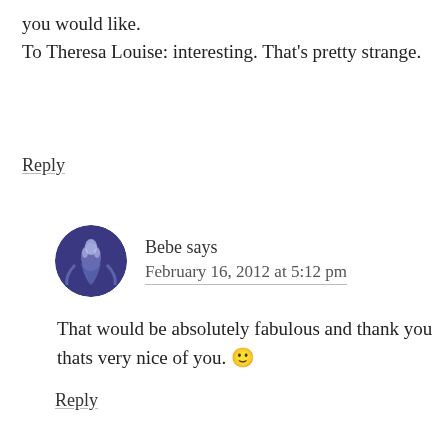you would like.
To Theresa Louise: interesting. That’s pretty strange.
Reply
Bebe says
February 16, 2012 at 5:12 pm
That would be absolutely fabulous and thank you thats very nice of you. 🙂
Reply